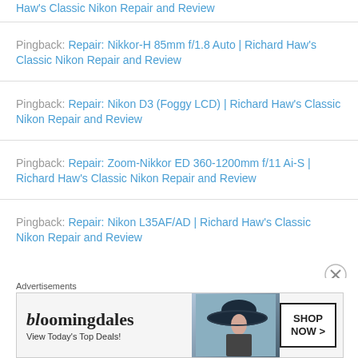Repair: Nikkor-H 85mm f/1.8 Auto | Richard Haw's Classic Nikon Repair and Review (partial, top)
Pingback: Repair: Nikkor-H 85mm f/1.8 Auto | Richard Haw's Classic Nikon Repair and Review
Pingback: Repair: Nikon D3 (Foggy LCD) | Richard Haw's Classic Nikon Repair and Review
Pingback: Repair: Zoom-Nikkor ED 360-1200mm f/11 Ai-S | Richard Haw's Classic Nikon Repair and Review
Pingback: Repair: Nikon L35AF/AD | Richard Haw's Classic Nikon Repair and Review
[Figure (other): Bloomingdale's advertisement banner with text 'View Today's Top Deals!' and 'SHOP NOW >' button, showing a woman in a hat]